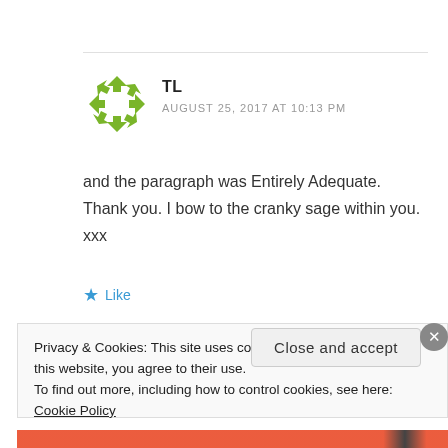[Figure (illustration): Green star/arrow pattern avatar icon for user TL]
TL
AUGUST 25, 2017 AT 10:13 PM
and the paragraph was Entirely Adequate. Thank you. I bow to the cranky sage within you. xxx
★ Like
Privacy & Cookies: This site uses cookies. By continuing to use this website, you agree to their use.
To find out more, including how to control cookies, see here: Cookie Policy
Close and accept